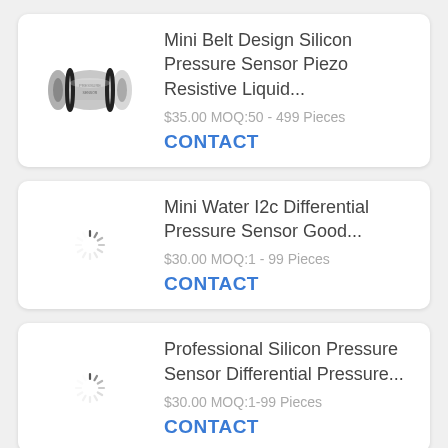[Figure (photo): Photo of a cylindrical metal pressure sensor with black O-rings]
Mini Belt Design Silicon Pressure Sensor Piezo Resistive Liquid...
$35.00 MOQ:50 - 499 Pieces
CONTACT
[Figure (illustration): Loading spinner icon]
Mini Water I2c Differential Pressure Sensor Good...
$30.00 MOQ:1 - 99 Pieces
CONTACT
[Figure (illustration): Loading spinner icon]
Professional Silicon Pressure Sensor Differential Pressure...
$30.00 MOQ:1-99 Pieces
CONTACT